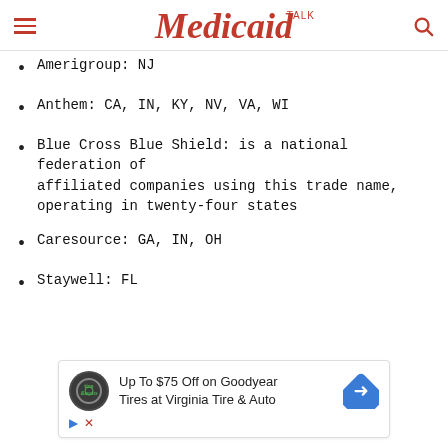Medicaid TALK
Amerigroup: NJ
Anthem: CA, IN, KY, NV, VA, WI
Blue Cross Blue Shield: is a national federation of affiliated companies using this trade name, operating in twenty-four states
Caresource: GA, IN, OH
Staywell: FL
[Figure (screenshot): Advertisement banner: 'Up To $75 Off on Goodyear Tires at Virginia Tire & Auto' with Tire & Auto logo and navigation arrow icon]